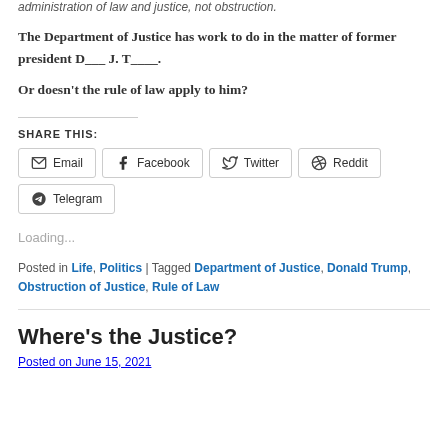administration of law and justice, not obstruction.
The Department of Justice has work to do in the matter of former president D___ J. T____.
Or doesn't the rule of law apply to him?
SHARE THIS:
Email | Facebook | Twitter | Reddit | Telegram
Loading...
Posted in Life, Politics | Tagged Department of Justice, Donald Trump, Obstruction of Justice, Rule of Law
Where's the Justice?
Posted on June 15, 2021